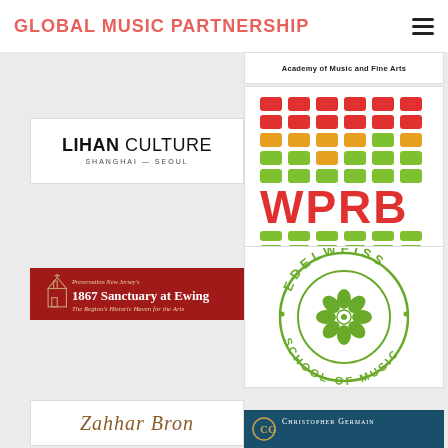GLOBAL MUSIC PARTNERSHIP
[Figure (logo): Academy of Music and Fine Arts logo (partial, top clipped)]
[Figure (logo): WPRB 103.3 FM Princeton NJ radio station logo with colored bar graph equalizer graphic]
[Figure (logo): LIHAN CULTURE Shanghai - Seoul text logo]
[Figure (logo): 1867 Sanctuary at Ewing - Preservation New Jersey's - The Region's Historic Haven for the Arts - red background with church illustration]
[Figure (logo): Edelweiss School of Music circular green logo with edelweiss flower]
[Figure (logo): Zahhar Bron (partial, bottom clipped)]
[Figure (logo): Christopher Germain (partial, bottom clipped, dark teal background)]